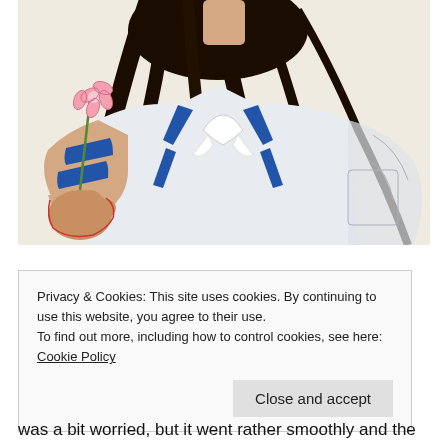[Figure (illustration): Watercolor illustration of an anime-style girl with long dark hair wearing a blue and white sailor school uniform, holding a small pink flower with her left hand. The illustration is partially visible, showing the torso and arms.]
Privacy & Cookies: This site uses cookies. By continuing to use this website, you agree to their use.
To find out more, including how to control cookies, see here: Cookie Policy
Close and accept
was a bit worried, but it went rather smoothly and the